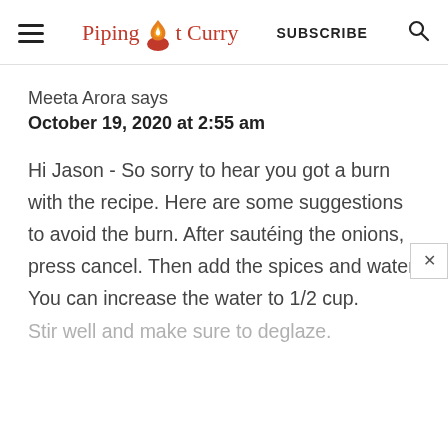Piping Pot Curry | SUBSCRIBE
Meeta Arora says
October 19, 2020 at 2:55 am
Hi Jason - So sorry to hear you got a burn with the recipe. Here are some suggestions to avoid the burn. After sautéing the onions, press cancel. Then add the spices and water. You can increase the water to 1/2 cup. Stir well and make sure to deglaze.